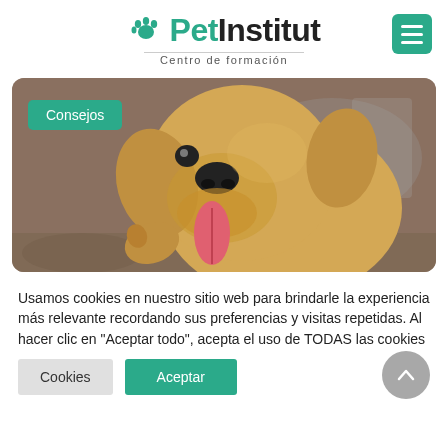[Figure (logo): PetInstitut logo with paw print icon and 'Centro de formación' subtitle, plus green hamburger menu button]
[Figure (photo): Golden retriever puppy with tongue out, happy expression, photographed outdoors with a 'Consejos' green badge overlay]
Usamos cookies en nuestro sitio web para brindarle la experiencia más relevante recordando sus preferencias y visitas repetidas. Al hacer clic en "Aceptar todo", acepta el uso de TODAS las cookies
Cookies | Aceptar